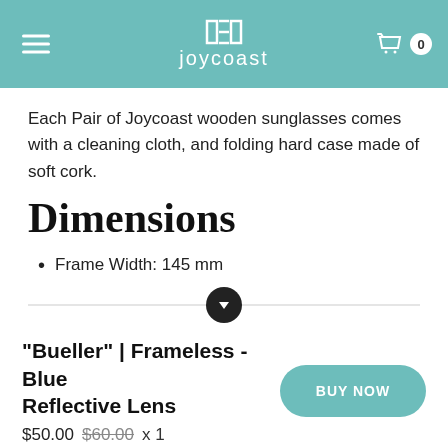joycoast
Each Pair of Joycoast wooden sunglasses comes with a cleaning cloth, and folding hard case made of soft cork.
Dimensions
Frame Width: 145 mm
"Bueller" | Frameless - Blue Reflective Lens
$50.00 $60.00 x 1